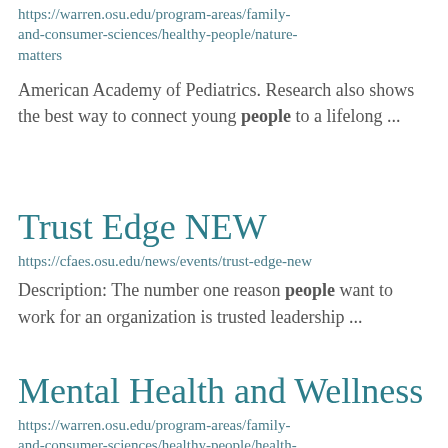https://warren.osu.edu/program-areas/family-and-consumer-sciences/healthy-people/nature-matters
American Academy of Pediatrics. Research also shows the best way to connect young people to a lifelong ...
Trust Edge NEW
https://cfaes.osu.edu/news/events/trust-edge-new
Description: The number one reason people want to work for an organization is trusted leadership ...
Mental Health and Wellness
https://warren.osu.edu/program-areas/family-and-consumer-sciences/healthy-people/health-and-well-being